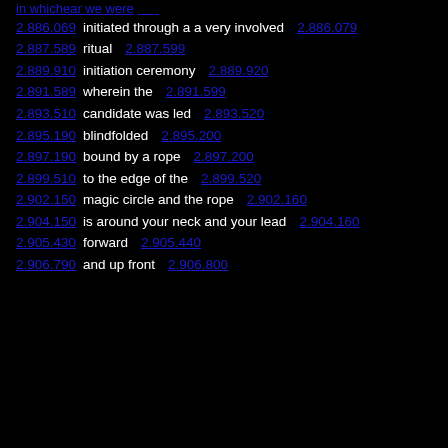in whichear we were [link]
2.886.069  initiated through a a very involved  2.886.079
2.887.589  ritual  2.887.599
2.889.910  initiation ceremony  2.889.920
2.891.589  wherein the  2.891.599
2.893.510  candidate was led  2.893.520
2.895.190  blindfolded  2.895.200
2.897.190  bound by a rope  2.897.200
2.899.510  to the edge of the  2.899.520
2.902.150  magic circle and the rope  2.902.160
2.904.150  is around your neck and your lead  2.904.160
2.905.430  forward  2.905.440
2.906.790  and up front  2.906.800